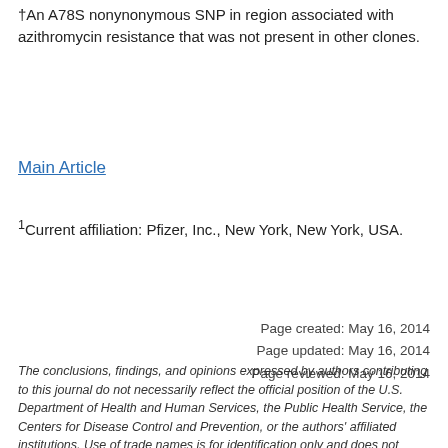†An A78S nonynonymous SNP in region associated with azithromycin resistance that was not present in other clones.
Main Article
¹Current affiliation: Pfizer, Inc., New York, New York, USA.
Page created: May 16, 2014
Page updated: May 16, 2014
Page reviewed: May 16, 2014
The conclusions, findings, and opinions expressed by authors contributing to this journal do not necessarily reflect the official position of the U.S. Department of Health and Human Services, the Public Health Service, the Centers for Disease Control and Prevention, or the authors' affiliated institutions. Use of trade names is for identification only and does not imply endorsement by any of the groups named above.